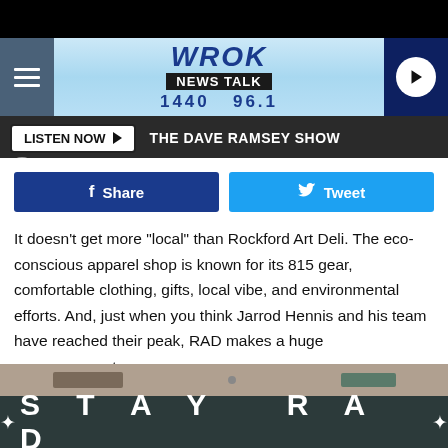[Figure (screenshot): WROK News Talk 1440 96.1 radio station website header with hamburger menu, logo, and play button]
LISTEN NOW ▶   THE DAVE RAMSEY SHOW
[Figure (other): Facebook Share and Twitter Tweet social sharing buttons]
It doesn't get more "local" than Rockford Art Deli. The eco-conscious apparel shop is known for its 815 gear, comfortable clothing, gifts, local vibe, and environmental efforts. And, just when you think Jarrod Hennis and his team have reached their peak, RAD makes a huge announcement.
[Figure (photo): Dark storefront sign reading STAY RAD with decorative star icons on either side]